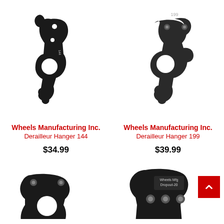[Figure (photo): Black metal derailleur hanger part, Wheels Manufacturing Derailleur Hanger 144, top-left product]
Wheels Manufacturing Inc.
Derailleur Hanger 144
$34.99
[Figure (photo): Dark grey/black metal derailleur hanger part labeled 199, Wheels Manufacturing Derailleur Hanger 199, top-right product]
Wheels Manufacturing Inc.
Derailleur Hanger 199
$39.99
[Figure (photo): Partial view of a black metal derailleur hanger part, bottom-left product]
[Figure (photo): Partial view of a black derailleur hanger part labeled Wheels Mfg Dropout-20, bottom-right product]